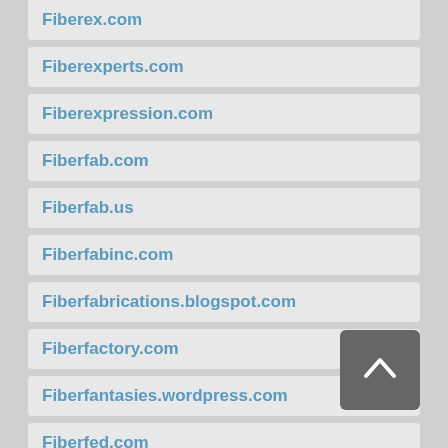Fiberex.com
Fiberexperts.com
Fiberexpression.com
Fiberfab.com
Fiberfab.us
Fiberfabinc.com
Fiberfabrications.blogspot.com
Fiberfactory.com
Fiberfantasies.wordpress.com
Fiberfed.com
Fiberfence.com